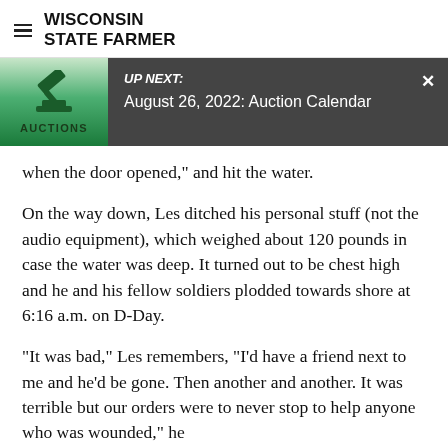WISCONSIN STATE FARMER
[Figure (screenshot): Auction promotion banner with gavel icon, 'UP NEXT: August 26, 2022: Auction Calendar' on dark background]
when the door opened," and hit the water.
On the way down, Les ditched his personal stuff (not the audio equipment), which weighed about 120 pounds in case the water was deep. It turned out to be chest high and he and his fellow soldiers plodded towards shore at 6:16 a.m. on D-Day.
"It was bad," Les remembers, "I'd have a friend next to me and he'd be gone. Then another and another. It was terrible but our orders were to never stop to help anyone who was wounded," he